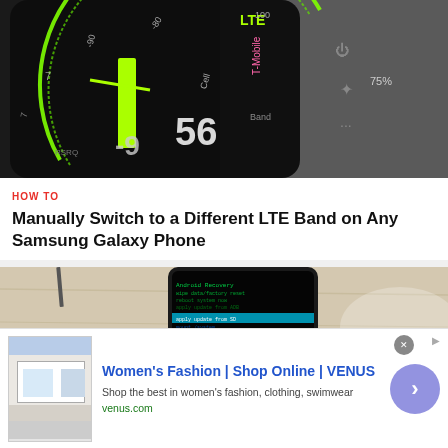[Figure (photo): Close-up of a Samsung Galaxy phone screen showing an LTE signal/band indicator app with green arc gauge, numbers like 56, 9, and other stats on a dark screen background. The phone is on a textured grey surface.]
HOW TO
Manually Switch to a Different LTE Band on Any Samsung Galaxy Phone
[Figure (photo): Samsung Galaxy phone showing Android Recovery or developer menu screen with green/teal text on dark background, on a light wooden surface.]
[Figure (screenshot): Advertisement banner: Women's Fashion | Shop Online | VENUS. Shop the best in women's fashion, clothing, swimwear. venus.com]